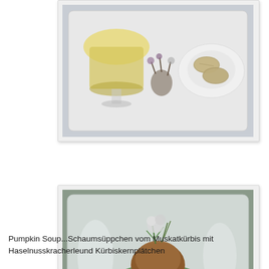[Figure (photo): Top-down view of a plated dish on a white square plate showing a glass of cream soup and a small plate with biscuits/cookies, garnished with dried flowers]
[Figure (photo): A roasted small bird (quail or pousssin) served on a bed of green puree, garnished with fresh herbs and leaves on a white square plate]
Pumpkin Soup...Schaumsüppchen vom Muskatkürbis mit Haselnusskracherleund Kürbiskernplätchen